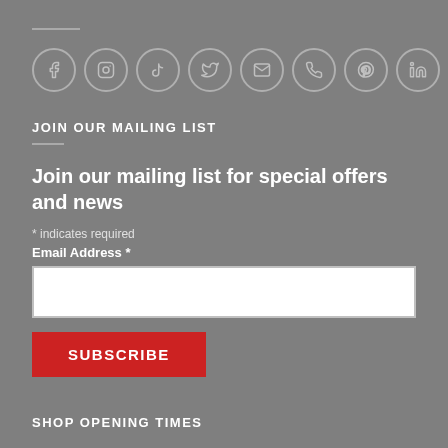[Figure (infographic): Row of 9 social media icon circles: Facebook, Instagram, TikTok, Twitter/X, Email, Phone, Pinterest, LinkedIn, YouTube]
JOIN OUR MAILING LIST
Join our mailing list for special offers and news
* indicates required
Email Address *
SUBSCRIBE
SHOP OPENING TIMES